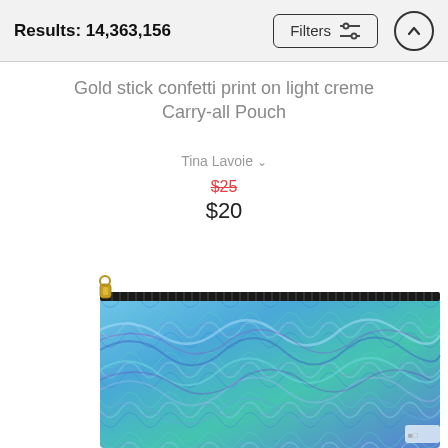Results: 14,363,156
Gold stick confetti print on light creme Carry-all Pouch
Tina Lavoie
$25 (strikethrough) $20
[Figure (photo): Carry-all pouch with a blue and teal swirling marble/wave pattern, gold zipper pull at top-left, black zipper along the top edge.]